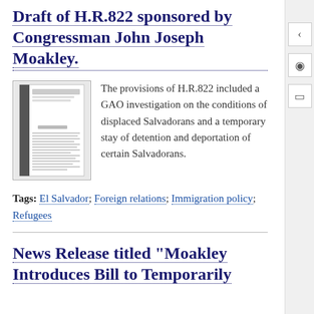Draft of H.R.822 sponsored by Congressman John Joseph Moakley.
[Figure (photo): Thumbnail image of a legislative document titled H.R.822, showing a bill document with text columns.]
The provisions of H.R.822 included a GAO investigation on the conditions of displaced Salvadorans and a temporary stay of detention and deportation of certain Salvadorans.
Tags: El Salvador; Foreign relations; Immigration policy; Refugees
News Release titled "Moakley Introduces Bill to Temporarily